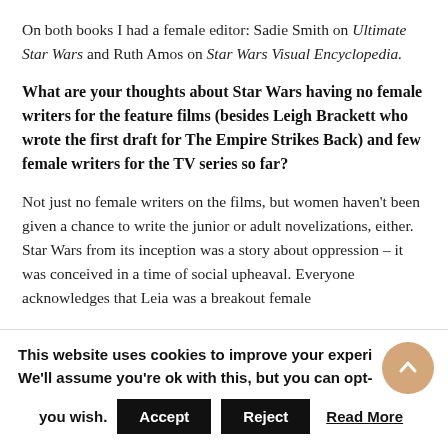On both books I had a female editor: Sadie Smith on Ultimate Star Wars and Ruth Amos on Star Wars Visual Encyclopedia.
What are your thoughts about Star Wars having no female writers for the feature films (besides Leigh Brackett who wrote the first draft for The Empire Strikes Back) and few female writers for the TV series so far?
Not just no female writers on the films, but women haven't been given a chance to write the junior or adult novelizations, either. Star Wars from its inception was a story about oppression – it was conceived in a time of social upheaval. Everyone acknowledges that Leia was a breakout female
This website uses cookies to improve your experience. We'll assume you're ok with this, but you can opt-out if you wish.
Accept | Reject | Read More